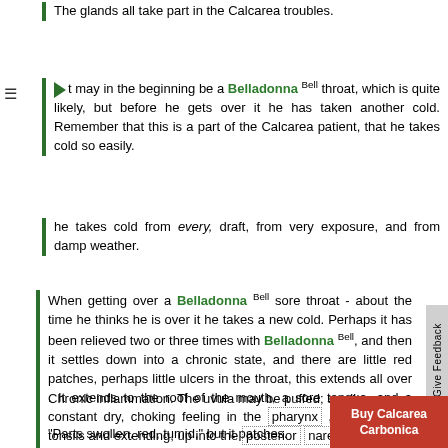The glands all take part in the Calcarea troubles.
It may in the beginning be a Belladonna Bell throat, which is quite likely, but before he gets over it he has taken another cold. Remember that this is a part of the Calcarea patient, that he takes cold so easily.
he takes cold from every, draft, from very exposure, and from damp weather.
When getting over a Belladonna Bell sore throat - about the time he thinks he is over it he takes a new cold. Perhaps it has been relieved two or three times with Belladonna Bell, and then it settles down into a chronic state, and there are little red patches, perhaps little ulcers in the throat, this extends all over . It extends to the roof of the mouth, a sore tongue, and a constant dry, choking feeling in the pharynx , covering the tonsils and extending, up into the posterior nares , filling with thick, yellow mucus.
Chronic inflammation. The uvula may be puffed; swollen
"Parts swollen, red, tumid," but it patches.